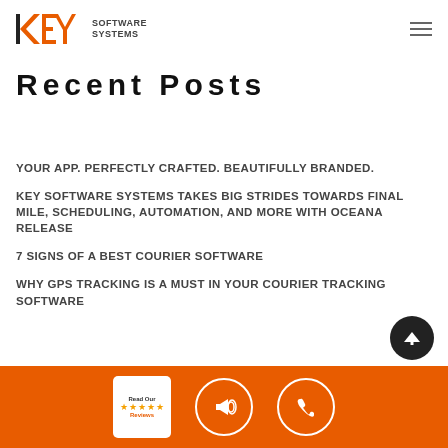[Figure (logo): Key Software Systems logo with orange KEY text and dark SOFTWARE SYSTEMS text]
Recent Posts
YOUR APP. PERFECTLY CRAFTED. BEAUTIFULLY BRANDED.
KEY SOFTWARE SYSTEMS TAKES BIG STRIDES TOWARDS FINAL MILE, SCHEDULING, AUTOMATION, AND MORE WITH OCEANA RELEASE
7 SIGNS OF A BEST COURIER SOFTWARE
WHY GPS TRACKING IS A MUST IN YOUR COURIER TRACKING SOFTWARE
[Figure (infographic): Orange footer bar with Read Our Reviews badge, megaphone icon circle, and phone icon circle]